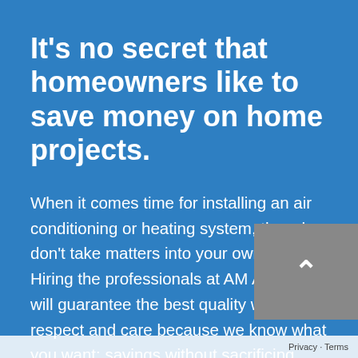It's no secret that homeowners like to save money on home projects.
When it comes time for installing an air conditioning or heating system, though – don't take matters into your own hands! Hiring the professionals at AM Aire Inc will guarantee the best quality work with respect and care because we know what you want: savings without sacrificing good service. Owner Andrew doesn't just try hard; he knows how vital customer satisfaction is when someone hires us as their HVAC contractor in the Largo, St. Petersburg, Clearwater, Palm Harbor